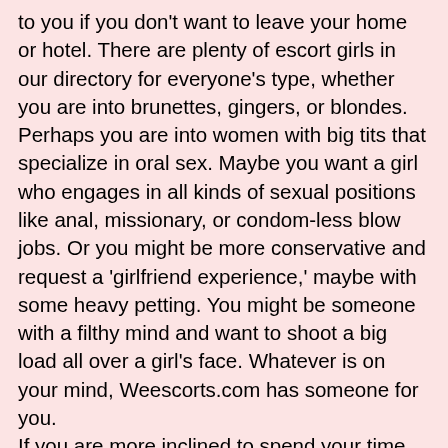to you if you don't want to leave your home or hotel. There are plenty of escort girls in our directory for everyone's type, whether you are into brunettes, gingers, or blondes. Perhaps you are into women with big tits that specialize in oral sex. Maybe you want a girl who engages in all kinds of sexual positions like anal, missionary, or condom-less blow jobs. Or you might be more conservative and request a 'girlfriend experience,' maybe with some heavy petting. You might be someone with a filthy mind and want to shoot a big load all over a girl's face. Whatever is on your mind, Weescorts.com has someone for you.
If you are more inclined to spend your time with a high-end independent companion, you can pick from several in the escort directory. One of the most common requests of these women is a full-service session that includes anal sex and ejaculating in the girl's mouth. If porn is your thing, you can meet up with amateurs in the Porn Star section of the catalogue. The women here are all from diverse regions, so if Asian girls are your preference, you'll find one in this section of the